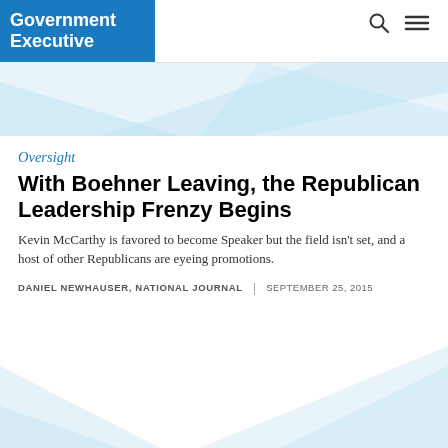Government Executive
[Figure (illustration): Light blue diagonal banner graphic at top of page below header]
Oversight
With Boehner Leaving, the Republican Leadership Frenzy Begins
Kevin McCarthy is favored to become Speaker but the field isn't set, and a host of other Republicans are eyeing promotions.
DANIEL NEWHAUSER, NATIONAL JOURNAL  |  SEPTEMBER 25, 2015
[Figure (illustration): Light blue diagonal banner graphic at bottom of page]